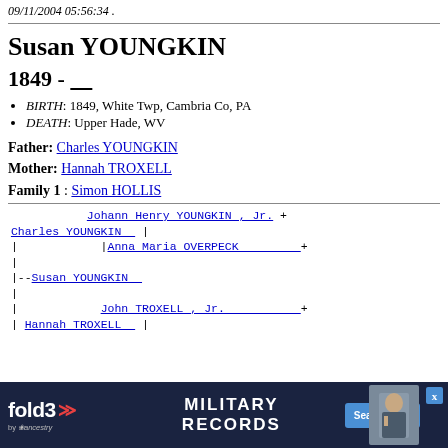09/11/2004 05:56:34 .
Susan YOUNGKIN
1849 - ____
BIRTH: 1849, White Twp, Cambria Co, PA
DEATH: Upper Hade, WV
Father: Charles YOUNGKIN
Mother: Hannah TROXELL
Family 1 : Simon HOLLIS
[Figure (other): Genealogy pedigree tree showing ancestors of Susan YOUNGKIN. Charles YOUNGKIN links to Johann Henry YOUNGKIN Jr. (+) and Anna Maria OVERPECK (+). --Susan YOUNGKIN. Hannah TROXELL links to John TROXELL Jr. (+).]
[Figure (other): fold3 Military Records advertisement banner with Search Now button and ancestry logo]